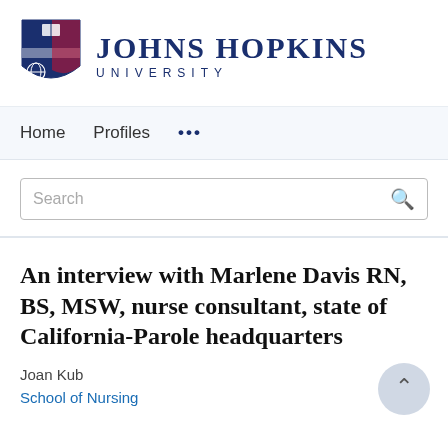[Figure (logo): Johns Hopkins University logo with shield and text]
Home   Profiles   ...
Search
An interview with Marlene Davis RN, BS, MSW, nurse consultant, state of California-Parole headquarters
Joan Kub
School of Nursing